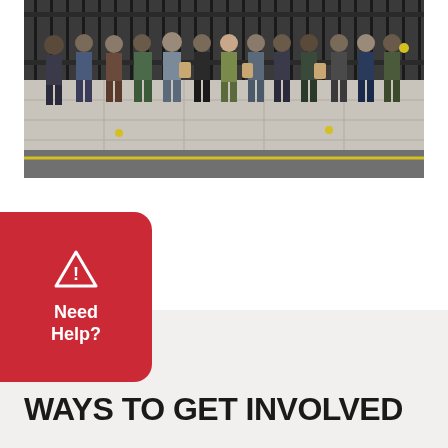[Figure (photo): Group of people standing on a pavement in front of black iron railings, several holding bags. A yellow line is visible on the road in front of them.]
[Figure (infographic): Red rounded rectangle button with a white triangle warning icon and the text 'Need Help?' in white bold text]
WAYS TO GET INVOLVED